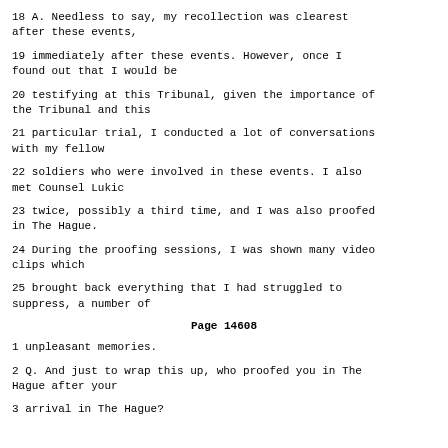18 A. Needless to say, my recollection was clearest after these events,
19 immediately after these events. However, once I found out that I would be
20 testifying at this Tribunal, given the importance of the Tribunal and this
21 particular trial, I conducted a lot of conversations with my fellow
22 soldiers who were involved in these events. I also met Counsel Lukic
23 twice, possibly a third time, and I was also proofed in The Hague.
24 During the proofing sessions, I was shown many video clips which
25 brought back everything that I had struggled to suppress, a number of
Page 14608
1 unpleasant memories.
2 Q. And just to wrap this up, who proofed you in The Hague after your
3 arrival in The Hague?